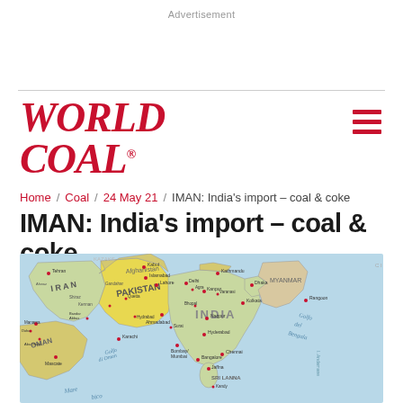Advertisement
[Figure (logo): World Coal magazine logo in red italic serif font]
Home / Coal / 24 May 21 / IMAN: India's import – coal & coke
IMAN: India's import – coal & coke
[Figure (map): Map of India and surrounding region including Pakistan, Iran, Oman, Sri Lanka, Myanmar showing major cities like Delhi, Mumbai, Hyderabad, Bangalore, Chennai, Kolkata and geographic features like Gulf of Oman and Bay of Bengal]